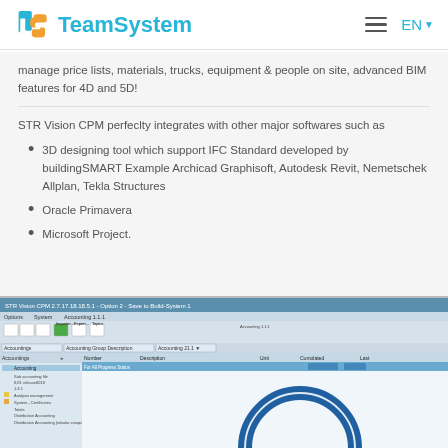TeamSystem
manage price lists, materials, trucks, equipment & people on site, advanced BIM features for 4D and 5D!
STR Vision CPM perfectly integrates with other major softwares such as
3D designing tool which support IFC Standard developed by buildingSMART Example Archicad Graphisoft, Autodesk Revit, Nemetschek Allplan, Tekla Structures
Oracle Primavera
Microsoft Project.
[Figure (screenshot): Screenshot of STR Vision CPM software interface showing a project management window with sidebar navigation tree, data table with columns, and a circular gauge/chart element in the lower right portion of the interface.]